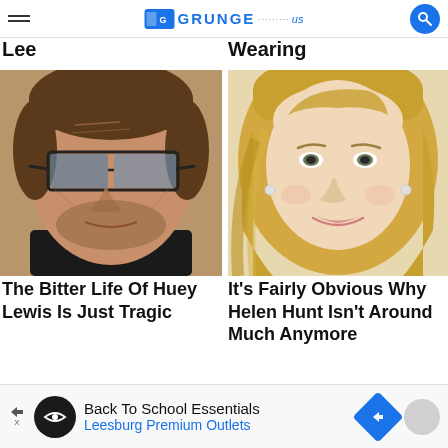Grunge (partial website header)
Lee
Wearing
[Figure (photo): Close-up photo of a middle-aged man with dark sunglasses and stubble - Huey Lewis]
[Figure (photo): Close-up photo of a blonde woman smiling - Helen Hunt]
The Bitter Life Of Huey Lewis Is Just Tragic
It's Fairly Obvious Why Helen Hunt Isn't Around Much Anymore
Back To School Essentials Leesburg Premium Outlets